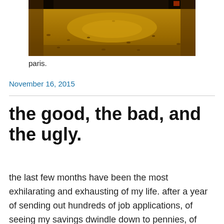[Figure (photo): Outdoor photo of a dirt/soil ground area with scattered dried leaves, trees visible in the background, taken in a park or garden setting. Warm golden-brown tones.]
paris.
November 16, 2015
the good, the bad, and the ugly.
the last few months have been the most exhilarating and exhausting of my life. after a year of sending out hundreds of job applications, of seeing my savings dwindle down to pennies, of desperately hoping someone would take a